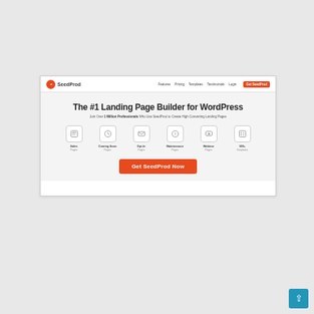[Figure (screenshot): Screenshot of SeedProd website landing page showing navbar with logo, navigation links (Features, Pricing, Templates, Testimonials, Login) and orange 'Get SeedProd' button. Hero section on gray background with title 'The #1 Landing Page Builder for WordPress', subtitle 'Join Over 1 Million Professionals Who Use SeedProd to Create High Converting Landing Pages', six icon boxes (Sales Pages, Coming Soon Pages, Opt-In Pages, Maintenance Pages, Webinar Pages, 100+ Templates), and an orange 'Get SeedProd Now' CTA button.]